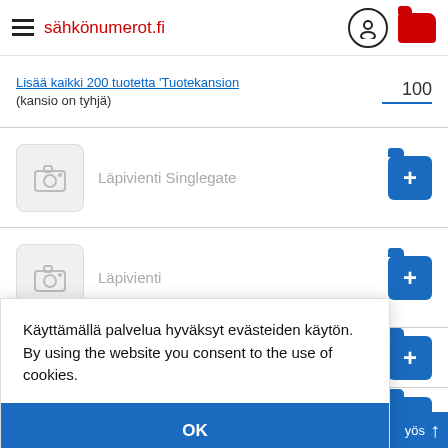sähkönumerot.fi
Lisää kaikki 200 tuotetta 'Tuotekansion (kansio on tyhjä) 100
Läpivienti Singlegate
Läpivienti
Käyttämällä palvelua hyväksyt evästeiden käytön. By using the website you consent to the use of cookies.
OK